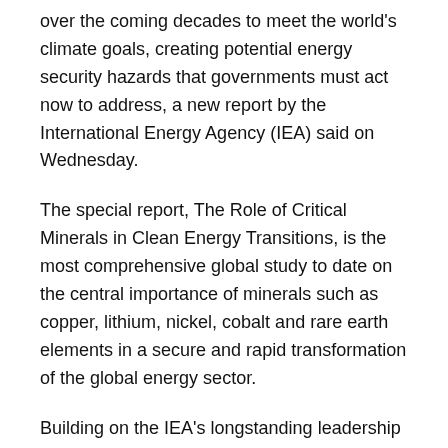over the coming decades to meet the world's climate goals, creating potential energy security hazards that governments must act now to address, a new report by the International Energy Agency (IEA) said on Wednesday.
The special report, The Role of Critical Minerals in Clean Energy Transitions, is the most comprehensive global study to date on the central importance of minerals such as copper, lithium, nickel, cobalt and rare earth elements in a secure and rapid transformation of the global energy sector.
Building on the IEA's longstanding leadership role in energy security, the report recommends six key areas of action for policy makers to ensure that critical minerals enable an accelerated transition to clean energy rather than becoming a bottleneck.
'Today the data and our experience is telling us the...